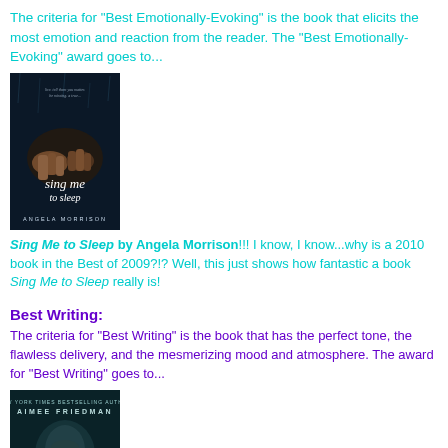The criteria for "Best Emotionally-Evoking" is the book that elicits the most emotion and reaction from the reader. The "Best Emotionally-Evoking" award goes to...
[Figure (photo): Book cover of 'Sing Me to Sleep' by Angela Morrison - dark background with two hands touching, text 'sing me to sleep' in script font and 'Angela Morrison' at bottom]
Sing Me to Sleep by Angela Morrison!!! I know, I know...why is a 2010 book in the Best of 2009?!? Well, this just shows how fantastic a book Sing Me to Sleep really is!
Best Writing:
The criteria for "Best Writing" is the book that has the perfect tone, the flawless delivery, and the mesmerizing mood and atmosphere. The award for "Best Writing" goes to...
[Figure (photo): Book cover partially visible - dark teal/blue tones with a face, author name partially visible as Aimee Friedman]